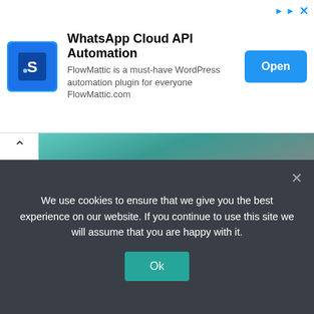[Figure (screenshot): Advertisement banner for FlowMattic WhatsApp Cloud API Automation WordPress plugin with blue logo, text description, and Open button]
[Figure (photo): Meme image with teal/turquoise background showing text 'AND YOU SITTING LIKE THIS' in Impact font with black outline]
Today’s 3 year olds can switch on laptops and open their favorite apps
We use cookies to ensure that we give you the best experience on our website. If you continue to use this site we will assume that you are happy with it.